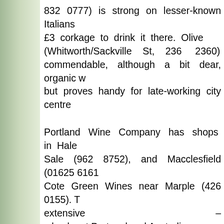832 0777) is strong on lesser-known Italians £3 corkage to drink it there. Olive (Whitworth/Sackville St, 236 2360) commendable, although a bit dear, organic w but proves handy for late-working city centre
Portland Wine Company has shops in Hale Sale (962 8752), and Macclesfield (01625 6161 Cote Green Wines near Marple (426 0155). T extensive – check out Portugal and Australia out for producer-cringing Champagne dea Bramhall and Cheadle Hulme you'll come Bottle Stop (439 4904), again well priced a Heaton Moor Road's quaintly ramshackle cov is home to Booth's (432 4260): squee